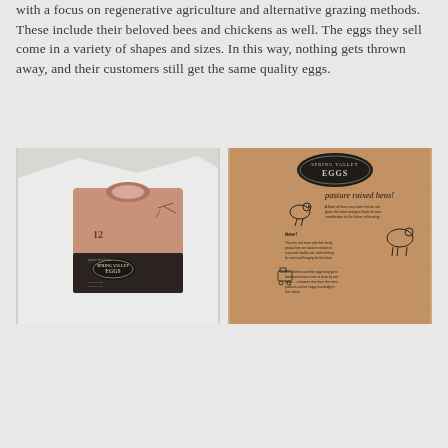with a focus on regenerative agriculture and alternative grazing methods. These include their beloved bees and chickens as well. The eggs they sell come in a variety of shapes and sizes. In this way, nothing gets thrown away, and their customers still get the same quality eggs.
[Figure (photo): Photograph of Spring Valley Eggs egg carton packaging, a kraft/copper-toned box with dark bottom panel, handle cutout on top, placed on a white torn-paper background.]
[Figure (photo): Photograph of Spring Valley Eggs kraft paper insert/informational sheet showing 'SPRING VALLEY EGGS' oval logo, 'pasture raised hens!' heading, and hand-drawn illustrations with descriptive text about hens, how they are raised, and their care.]